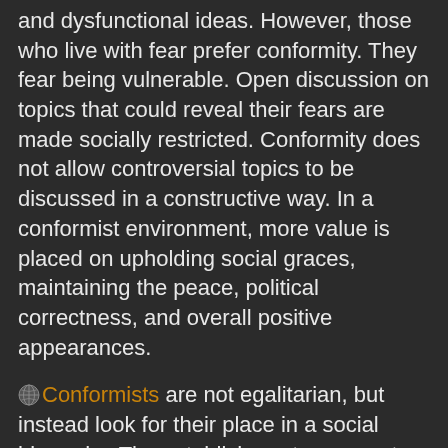and dysfunctional ideas. However, those who live with fear prefer conformity. They fear being vulnerable. Open discussion on topics that could reveal their fears are made socially restricted. Conformity does not allow controversial topics to be discussed in a constructive way. In a conformist environment, more value is placed on upholding social graces, maintaining the peace, political correctness, and overall positive appearances.
🌐 Conformists are not egalitarian, but instead look for their place in a social hierarchy. The establishment represents a higher status entity than themselves in their construct of hierarchy. Hierarchy provides a feeling of safety and stability for conformists. They therefore have an inherent need to trust the establishment. Conformists prefer to avoid making decisions for themselves, and would rather have a higher status person, or the establishment make decisions for them. Conformists would demonize 🌐 whistleblowers. They are the ones that would support Hitler because they like the feeling of security and that they will be protected by...